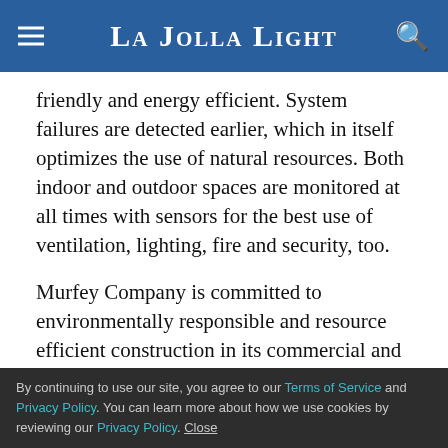La Jolla Light
friendly and energy efficient. System failures are detected earlier, which in itself optimizes the use of natural resources. Both indoor and outdoor spaces are monitored at all times with sensors for the best use of ventilation, lighting, fire and security, too.
Murfey Company is committed to environmentally responsible and resource efficient construction in its commercial and residential projects from start to finish. If you are interested in learning more about our construction and real estate development projects, please visit www.murfeycompany.com.
By continuing to use our site, you agree to our Terms of Service and Privacy Policy. You can learn more about how we use cookies by reviewing our Privacy Policy. Close